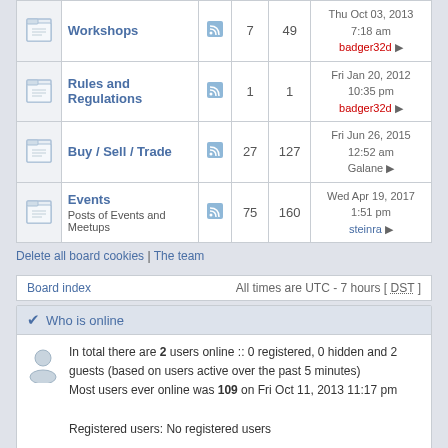|  | Forum |  | Topics | Posts | Last post |
| --- | --- | --- | --- | --- | --- |
|  | Workshops |  | 7 | 49 | Thu Oct 03, 2013 7:18 am badger32d |
|  | Rules and Regulations |  | 1 | 1 | Fri Jan 20, 2012 10:35 pm badger32d |
|  | Buy / Sell / Trade |  | 27 | 127 | Fri Jun 26, 2015 12:52 am Galane |
|  | Events Posts of Events and Meetups |  | 75 | 160 | Wed Apr 19, 2017 1:51 pm steinra |
Delete all board cookies | The team
Board index | All times are UTC - 7 hours [ DST ]
Who is online
In total there are 2 users online :: 0 registered, 0 hidden and 2 guests (based on users active over the past 5 minutes) Most users ever online was 109 on Fri Oct 11, 2013 11:17 pm

Registered users: No registered users

Legend :: Administrators, Global moderators
Statistics
Total posts 2934 | Total topics 461 | Total members 146 | Our newest member 3dtech